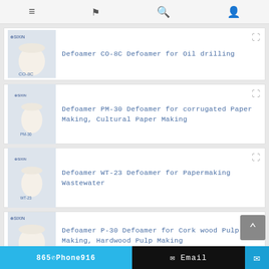[navigation icons: menu, flag, search, user]
Defoamer CO-8C Defoamer for Oil drilling
Defoamer PM-30 Defoamer for corrugated Paper Making, Cultural Paper Making
Defoamer WT-23 Defoamer for Papermaking Wastewater
Defoamer P-30 Defoamer for Cork wood Pulp Making, Hardwood Pulp Making
865-Phone916  ✉ Email